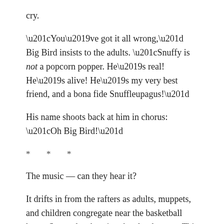cry.
“You’ve got it all wrong,” Big Bird insists to the adults. “Snuffy is not a popcorn popper. He’s real! He’s alive! He’s my very best friend, and a bona fide Snuffleupagus!”
His name shoots back at him in chorus: “Oh Big Bird!”
* * *
The music — can they hear it?
It drifts in from the rafters as adults, muppets, and children congregate near the basketball hoop. Sunny day, keeping the clouds away. This theme has been played to children rolling down grassy hills, to children pushing hula-hoops down the sidewalk, to children running behind Barkley, the mop-haired dog. It’s played daily while the sponsors are rattled off. They seem not to notice the music as it strains